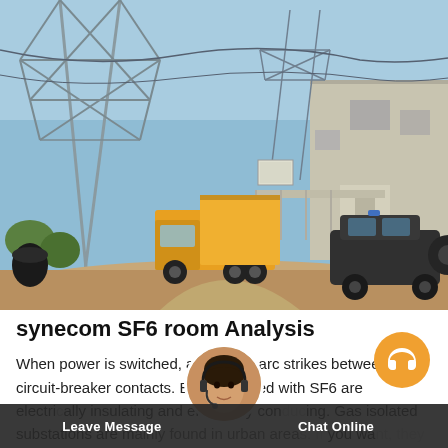[Figure (photo): Outdoor photo of an electrical substation area with large metal transmission tower structures in the background, a yellow utility truck on the left, and a dark SUV on the right. A building with a concrete wall and gate is visible in the background. The foreground shows a dirt/gravel road area.]
synecom SF6 room Analysis
When power is switched, an electric arc strikes between the circuit-breaker contacts. Breakers filled with SF6 are electrically insulating and effectively conducting. Gas isolated substations are mainly found in urban areas. If you want, they can take up as little room as... Missing:synecomMust...